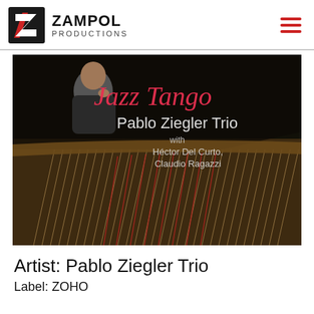ZAMPOL PRODUCTIONS
[Figure (photo): Album cover for 'Jazz Tango' by Pablo Ziegler Trio featuring a man seated at a grand piano in a dark studio, with text overlaid: 'Jazz Tango / Pablo Ziegler Trio / with Héctor Del Curto, Claudio Ragazzi']
Artist: Pablo Ziegler Trio
Label: ZOHO